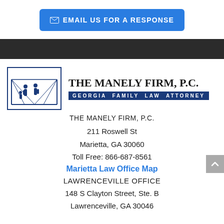EMAIL US FOR A RESPONSE
[Figure (logo): The Manely Firm P.C. logo with silhouette of family on a bridge, blue border]
THE MANELY FIRM, P.C. | GEORGIA FAMILY LAW ATTORNEY
THE MANELY FIRM, P.C.
211 Roswell St
Marietta, GA 30060
Toll Free: 866-687-8561
Marietta Law Office Map
LAWRENCEVILLE OFFICE
148 S Clayton Street, Ste. B
Lawrenceville, GA 30046